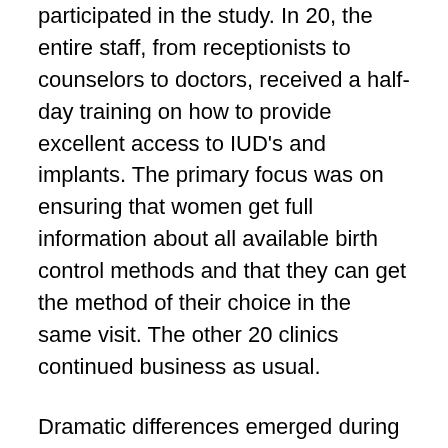participated in the study. In 20, the entire staff, from receptionists to counselors to doctors, received a half-day training on how to provide excellent access to IUD's and implants. The primary focus was on ensuring that women get full information about all available birth control methods and that they can get the method of their choice in the same visit. The other 20 clinics continued business as usual.
Dramatic differences emerged during the following year. In the 20 clinics that received the training, 71 percent of providers discussed IUD's and implants with their patients, while only 39 percent did in the control group. Women responded to additional information by choosing IUD's and implants at a higher rate—28 percent in the clinics that received the intervention vs. 17 percent in the control group. In both settings 99 percent of women felt that the